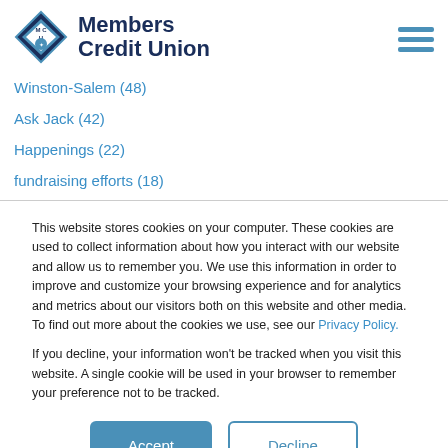[Figure (logo): Members Credit Union logo with diamond shape containing MCU initials and handshake icon, alongside bold text 'Members Credit Union']
Winston-Salem (48)
Ask Jack (42)
Happenings (22)
fundraising efforts (18)
This website stores cookies on your computer. These cookies are used to collect information about how you interact with our website and allow us to remember you. We use this information in order to improve and customize your browsing experience and for analytics and metrics about our visitors both on this website and other media. To find out more about the cookies we use, see our Privacy Policy.
If you decline, your information won't be tracked when you visit this website. A single cookie will be used in your browser to remember your preference not to be tracked.